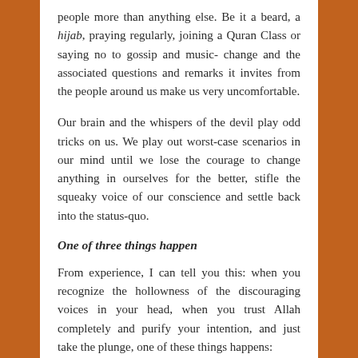people more than anything else. Be it a beard, a hijab, praying regularly, joining a Quran Class or saying no to gossip and music- change and the associated questions and remarks it invites from the people around us make us very uncomfortable.
Our brain and the whispers of the devil play odd tricks on us. We play out worst-case scenarios in our mind until we lose the courage to change anything in ourselves for the better, stifle the squeaky voice of our conscience and settle back into the status-quo.
One of three things happen
From experience, I can tell you this: when you recognize the hollowness of the discouraging voices in your head, when you trust Allah completely and purify your intention, and just take the plunge, one of these things happens: